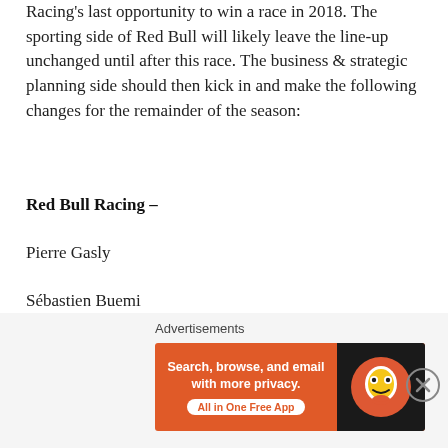Racing's last opportunity to win a race in 2018. The sporting side of Red Bull will likely leave the line-up unchanged until after this race. The business & strategic planning side should then kick in and make the following changes for the remainder of the season:
Red Bull Racing –
Pierre Gasly
Sébastien Buemi
Scuderia Toro Rosso –
Max Verstappen
[Figure (screenshot): DuckDuckGo advertisement banner: orange background with text 'Search, browse, and email with more privacy. All in One Free App' and DuckDuckGo logo on dark right panel. Preceded by 'Advertisements' label.]